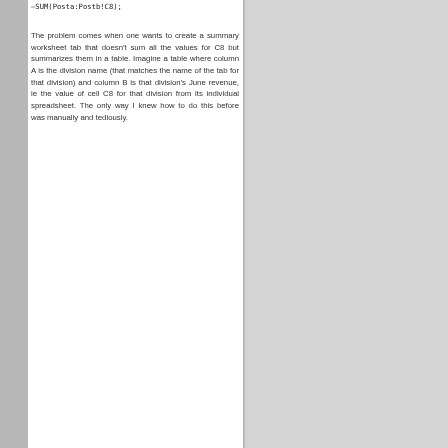–SUM(Posta:Postb!C8);
The problem comes when one wants to create a summary worksheet tab that doesn't sum all the values for C8 but summarizes them in a table. Imagine a table where column A is the division name (that matches the name of the tab for that division) and column B is that division's June revenue, ie the value of cell C8 for that division from its individual spreadsheet. The only way I knew how to do this before was manually and tediously.